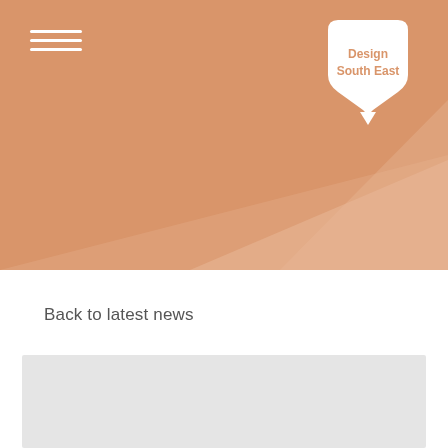[Figure (illustration): Hero banner with salmon/terracotta colored background featuring geometric diagonal lighter panel shapes. Top-left has a hamburger menu icon (three white horizontal lines). Top-right has the Design South East logo: a white heart/shield shape with 'Design South East' text in salmon color inside.]
Back to latest news
[Figure (photo): Large light gray placeholder rectangle at the bottom of the page, partially cut off.]